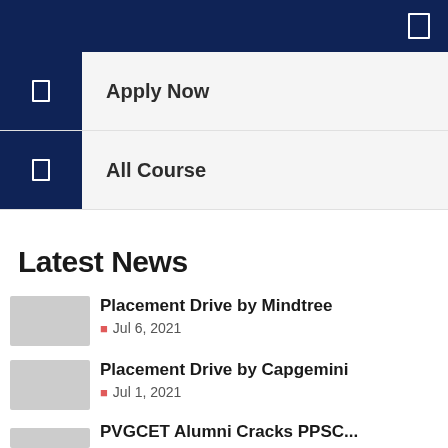Navigation bar with menu icon
Apply Now
All Course
Latest News
Placement Drive by Mindtree — Jul 6, 2021
Placement Drive by Capgemini — Jul 1, 2021
PVGCET Alumni Cracks PPSC...